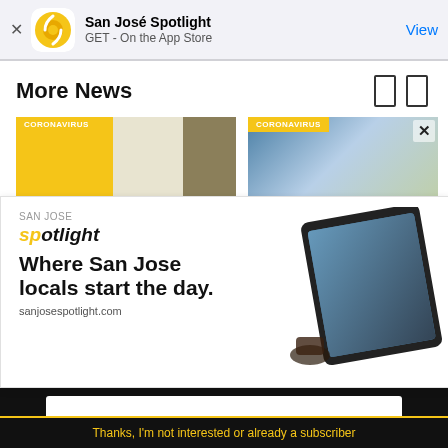San José Spotlight
GET - On the App Store
View
More News
[Figure (screenshot): Two card thumbnails with CORONAVIRUS tags]
[Figure (advertisement): San José Spotlight ad: Where San Jose locals start the day. sanjosespotlight.com with tablet image]
EMAIL ADDRESS
SUBSCRIBE
Thanks, I'm not interested or already a subscriber